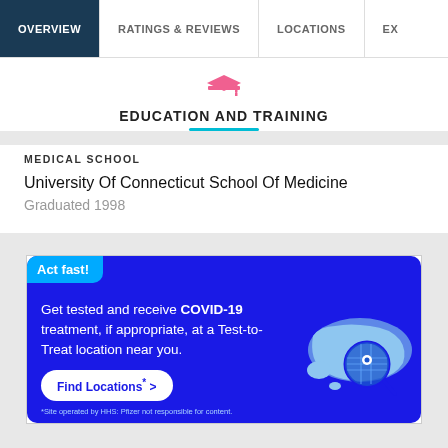OVERVIEW | RATINGS & REVIEWS | LOCATIONS | EX
EDUCATION AND TRAINING
MEDICAL SCHOOL
University Of Connecticut School Of Medicine
Graduated 1998
[Figure (infographic): Advertisement: Act fast! Get tested and receive COVID-19 treatment, if appropriate, at a Test-to-Treat location near you. Find Locations button with map of USA. Site operated by HHS; Pfizer not responsible for content.]